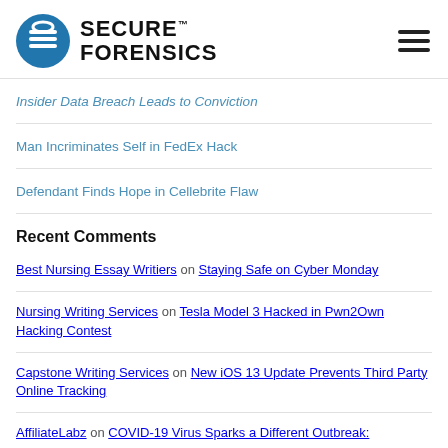[Figure (logo): Secure Forensics logo with blue circle icon and bold text reading SECURE FORENSICS]
Insider Data Breach Leads to Conviction
Man Incriminates Self in FedEx Hack
Defendant Finds Hope in Cellebrite Flaw
Recent Comments
Best Nursing Essay Writiers on Staying Safe on Cyber Monday
Nursing Writing Services on Tesla Model 3 Hacked in Pwn2Own Hacking Contest
Capstone Writing Services on New iOS 13 Update Prevents Third Party Online Tracking
AffiliateLabz on COVID-19 Virus Sparks a Different Outbreak: